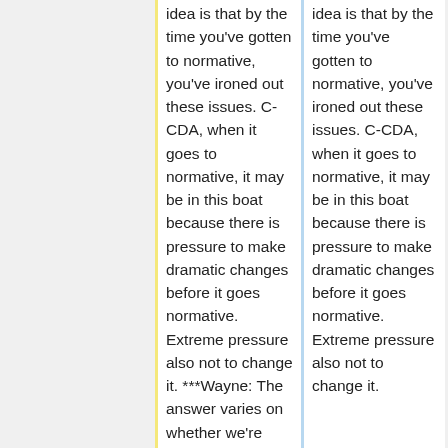idea is that by the time you've gotten to normative, you've ironed out these issues. C-CDA, when it goes to normative, it may be in this boat because there is pressure to make dramatic changes before it goes normative. Extreme pressure also not to change it. ***Wayne: The answer varies on whether we're talking about STUs or
idea is that by the time you've gotten to normative, you've ironed out these issues. C-CDA, when it goes to normative, it may be in this boat because there is pressure to make dramatic changes before it goes normative. Extreme pressure also not to change it.